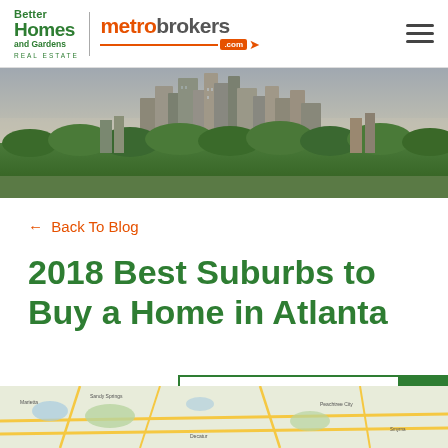Better Homes and Gardens Real Estate | metrobrokers.com
[Figure (photo): Aerial panoramic photo of Atlanta city skyline with green tree canopy in foreground, tall skyscrapers in background, overcast sky]
← Back To Blog
2018 Best Suburbs to Buy a Home in Atlanta
By R. Scott McClelland
[Figure (infographic): HOW CAN WE HELP YOU TODAY? green call-to-action widget with question mark button]
[Figure (map): Google Maps view of Atlanta metro area showing suburbs and roads]